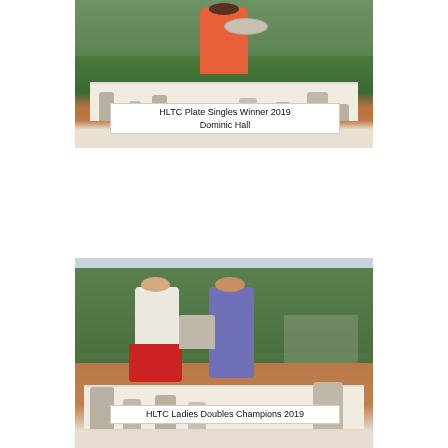[Figure (photo): Photo of a person in orange sportswear holding a trophy plate on a tennis court, with multiple trophies displayed on a table in front.]
HLTC Plate Singles Winner 2019
Dominic Hall
[Figure (photo): Photo of two women standing on a tennis court holding a trophy, with multiple trophies displayed on a table in front. Trees visible in background.]
HLTC Ladies Doubles Champions 2019